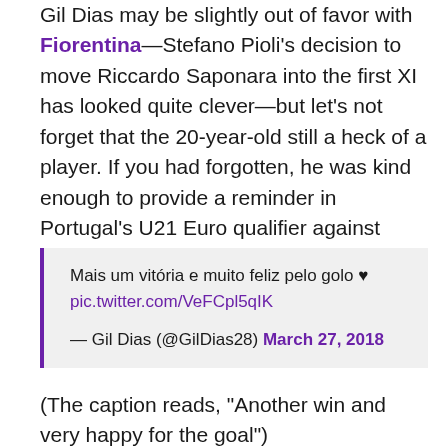Gil Dias may be slightly out of favor with Fiorentina—Stefano Pioli's decision to move Riccardo Saponara into the first XI has looked quite clever—but let's not forget that the 20-year-old still a heck of a player. If you had forgotten, he was kind enough to provide a reminder in Portugal's U21 Euro qualifier against Switzerland in the form of an icily precise chip.
Mais um vitória e muito feliz pelo golo ♥ pic.twitter.com/VeFCpl5qIK — Gil Dias (@GilDias28) March 27, 2018
(The caption reads, "Another win and very happy for the goal")